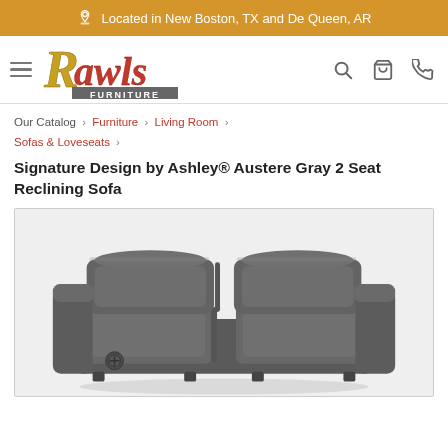Located in New Boston, TX and De Queen, AR
[Figure (logo): Rawls Furniture logo with stylized red italic text and 'FURNITURE' subtitle]
Our Catalog › Furniture › Living Room › Sofas & Loveseats ›
Signature Design by Ashley® Austere Gray 2 Seat Reclining Sofa
[Figure (photo): Gray reclining sofa / loveseat with two cushioned seats, tufted back cushions, and padded arms, shown at an angle on a white background]